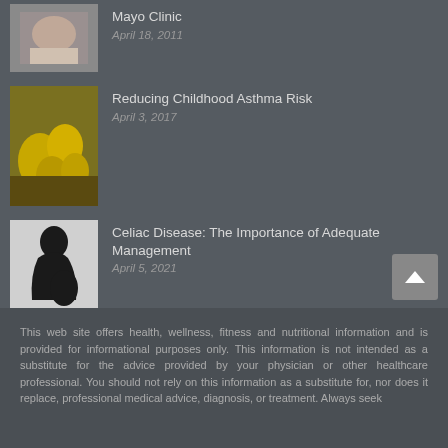[Figure (photo): Thumbnail image associated with Mayo Clinic article]
Mayo Clinic
April 18, 2011
[Figure (photo): Thumbnail image of fish oil capsules associated with Reducing Childhood Asthma Risk article]
Reducing Childhood Asthma Risk
April 3, 2017
[Figure (photo): Thumbnail image of pregnant woman associated with Celiac Disease article]
Celiac Disease: The Importance of Adequate Management
April 5, 2021
A Model for Naturopathic Brand Development
August 8, 2011
This web site offers health, wellness, fitness and nutritional information and is provided for informational purposes only. This information is not intended as a substitute for the advice provided by your physician or other healthcare professional. You should not rely on this information as a substitute for, nor does it replace, professional medical advice, diagnosis, or treatment. Always seek